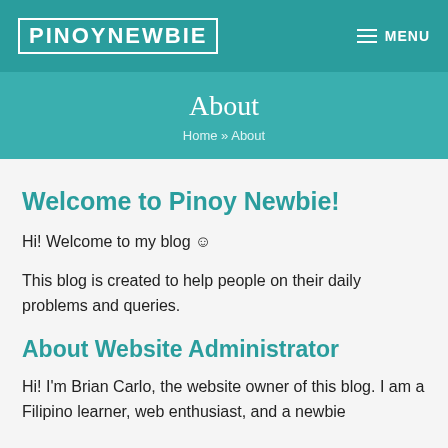PINOYNEWBIE   MENU
About
Home » About
Welcome to Pinoy Newbie!
Hi! Welcome to my blog ☺
This blog is created to help people on their daily problems and queries.
About Website Administrator
Hi! I'm Brian Carlo, the website owner of this blog. I am a Filipino learner, web enthusiast, and a newbie